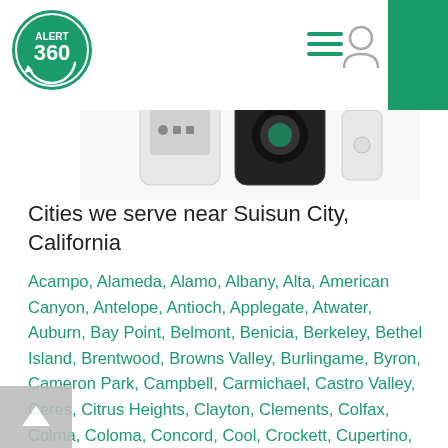[Figure (logo): Alert 360 circular green logo with white text 'ALERT 360' and circular arrow]
[Figure (photo): Security camera and alarm panel devices on white background]
Cities we serve near Suisun City, California
Acampo, Alameda, Alamo, Albany, Alta, American Canyon, Antelope, Antioch, Applegate, Atwater, Auburn, Bay Point, Belmont, Benicia, Berkeley, Bethel Island, Brentwood, Browns Valley, Burlingame, Byron, Cameron Park, Campbell, Carmichael, Castro Valley, Ceres, Citrus Heights, Clayton, Clements, Colfax, Colma, Coloma, Concord, Cool, Crockett, Cupertino, Daly City, Danville, Davis, Delhi, Denair, Diablo, Diamond Springs, Discovery Bay, Dixon, Dublin, Dunnigan, East Palo Alto, El Cerrito, El Dorado Hills, El Macero, El Sobrante, Elk Grove, Elverta, Emerald Hills, Emeryville, Escalon, Esparto, Fair Oaks, Fairfield,